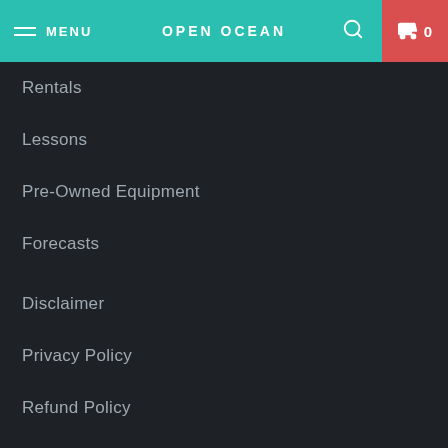MENU | OPEN OCEAN | 0
Rentals
Lessons
Pre-Owned Equipment
Forecasts
Disclaimer
Privacy Policy
Refund Policy
Shipping Policy
Terms & Conditions
SUBSCRIBE TODAY!
Receive our latest updates about our products and promotions